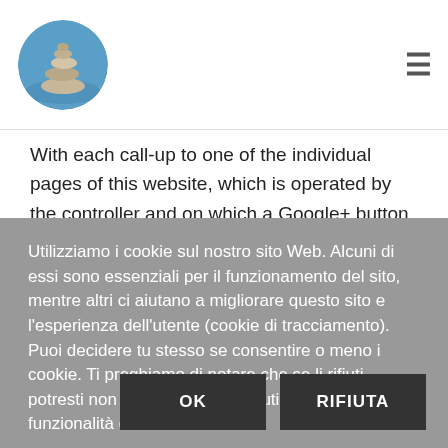[Figure (logo): Circular logo with stacked stones on a beach/water background]
With each call-up to one of the individual pages of this website, which is operated by the controller and on which a Google+ button has been integrated, the Internet browser on the information technology system of the data subject automatically downloads a display of the corresponding Google+ button of Google through the respective Google+ button component. During the course of this technical
Utilizziamo i cookie sul nostro sito Web. Alcuni di essi sono essenziali per il funzionamento del sito, mentre altri ci aiutano a migliorare questo sito e l'esperienza dell'utente (cookie di tracciamento). Puoi decidere tu stesso se consentire o meno i cookie. Ti preghiamo di notare che se li rifiuti, potresti non essere in grado di utilizzare tutte le funzionalità del sito.
OK
RIFIUTA